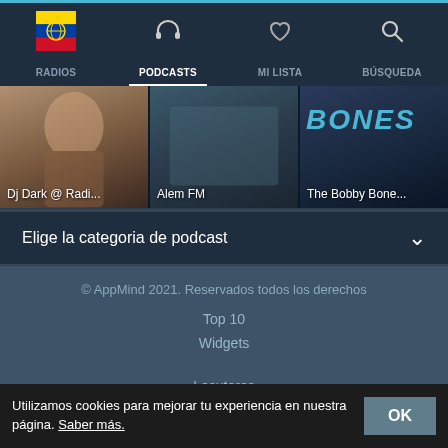[Figure (screenshot): App navigation bar with Ecuador flag logo, headphones icon, heart icon, and search icon]
RADIOS
PODCASTS
MI LISTA
BÚSQUEDA
[Figure (screenshot): Three media cards: Dj Dark @ Radi..., Alem FM, The Bobby Bone...]
Dj Dark @ Radi...
Alem FM
The Bobby Bone...
Elige la categoria de podcast
© AppMind 2021. Reservados todos los derechos
Top 10
Widgets
Locutores
Política de privacidad
Términos del servicio
Utilizamos cookies para mejorar tu experiencia en nuestra página. Saber más.